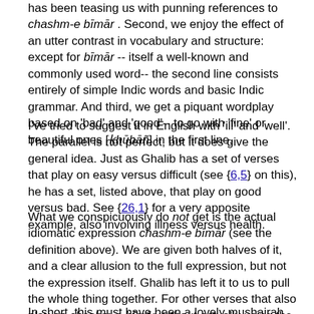has been teasing us with punning references to chashm-e bīmār . Second, we enjoy the effect of an utter contrast in vocabulary and structure: except for bīmār -- itself a well-known and commonly used word-- the second line consists entirely of simple Indic words and basic Indic grammar. And third, we get a piquant wordplay based on 'bad' and 'good'-- to go with 'fine' or beautiful ones [ḳhūbāñ] in the first line.
I've tried to suggest it in English with 'ill' and 'well'. The parallel is not perfect, but it does give the general idea. Just as Ghalib has a set of verses that play on easy versus difficult (see {6,5} on this), he has a set, listed above, that play on good versus bad. See {26,1} for a very apposite example, also involving illness versus health.
What we conspicuously do not get is the actual idiomatic expression chashm-e bīmār (see the definition above). We are given both halves of it, and a clear allusion to the full expression, but not the expression itself. Ghalib has left it to us to pull the whole thing together. For other verses that also play on chashm-e bīmār without actually using the phrase, see {72,3} and {200,1}.
In short, this must have been a lovely mushairah verse